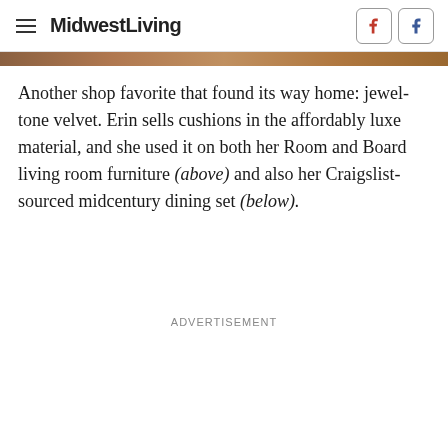MidwestLiving
[Figure (photo): Partial image strip showing a warm-toned interior photo at the top of the page]
Another shop favorite that found its way home: jewel-tone velvet. Erin sells cushions in the affordably luxe material, and she used it on both her Room and Board living room furniture (above) and also her Craigslist-sourced midcentury dining set (below).
ADVERTISEMENT